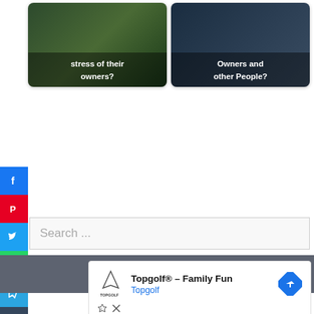[Figure (screenshot): Two article card thumbnails at top: left card reads 'stress of their owners?' with dark nature background; right card reads 'Owners and other People?' with dark nature background]
[Figure (infographic): Social media sharing sidebar with icons: Facebook (blue), Pinterest (red), Twitter (blue), WhatsApp (green), Telegram (blue), Tumblr (dark), Reddit (orange), Blogger (orange), LinkedIn (blue), Share (dark)]
Search ...
©PetLifey.com
[Figure (screenshot): Advertisement: Topgolf® – Family Fun, Topgolf brand, with Topgolf logo and navigation arrow icon]